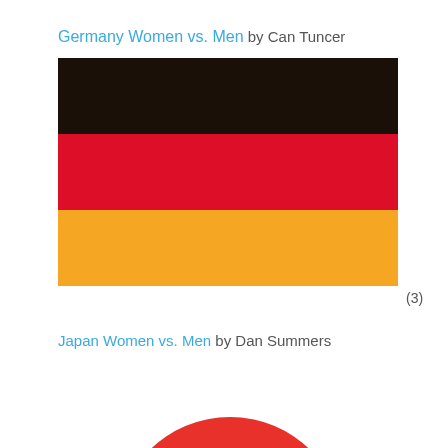Germany Women vs. Men by Can Tuncer
[Figure (illustration): German flag with three horizontal stripes: black on top, red in the middle, gold/yellow on the bottom. Annotated with (3).]
(3)
Japan Women vs. Men by Dan Summers
[Figure (illustration): Japanese flag showing a red circle (sun) on a white background, partially cropped at the bottom of the page.]